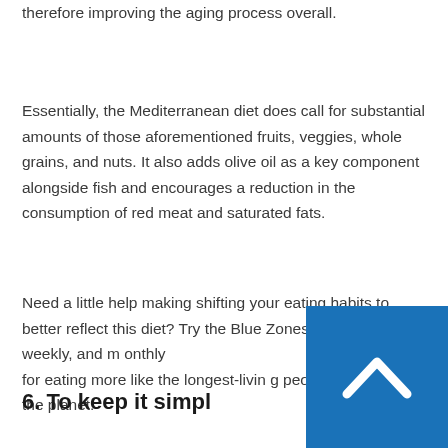therefore improving the aging process overall.
Essentially, the Mediterranean diet does call for substantial amounts of those aforementioned fruits, veggies, whole grains, and nuts. It also adds olive oil as a key component alongside fish and encourages a reduction in the consumption of red meat and saturated fats.
Need a little help making shifting your eating habits to better reflect this diet? Try the Blue Zones' specific daily, weekly, and m… for eating more like the longest-livin… the planet.
6. To keep it simpl…
[Figure (other): Blue square button with a white upward-pointing chevron arrow icon, used as a scroll-to-top or navigation button.]